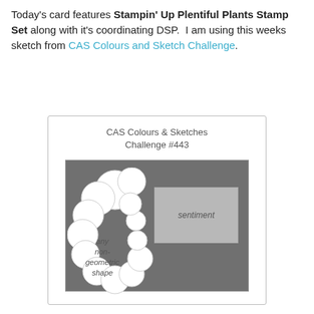Today's card features Stampin' Up Plentiful Plants Stamp Set along with it's coordinating DSP. I am using this weeks sketch from CAS Colours and Sketch Challenge.
[Figure (illustration): Card sketch diagram showing 'CAS Colours & Sketches Challenge #443' with a dark grey card background, a cloud/non-geometric shape on the left side with label 'any non-geometric shape', and a light grey rectangle labeled 'sentiment' on the right.]